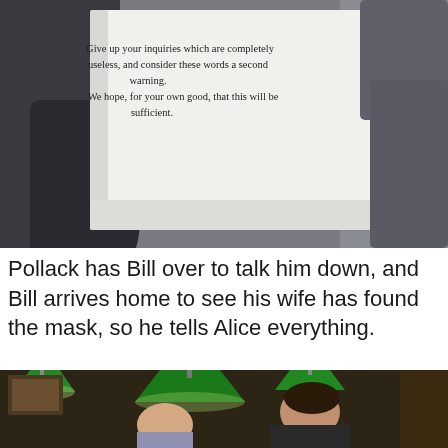[Figure (photo): Close-up photo of gloved hands holding open a small book or note with printed text: 'Give up your inquiries which are completely useless, and consider these words a second warning. We hope, for your own good, that this will be sufficient.']
Pollack has Bill over to talk him down, and Bill arrives home to see his wife has found the mask, so he tells Alice everything.
[Figure (photo): Movie still showing two men in a billiard room with green pendant lamps, one older man talking to a younger dark-haired man who is leaning forward.]